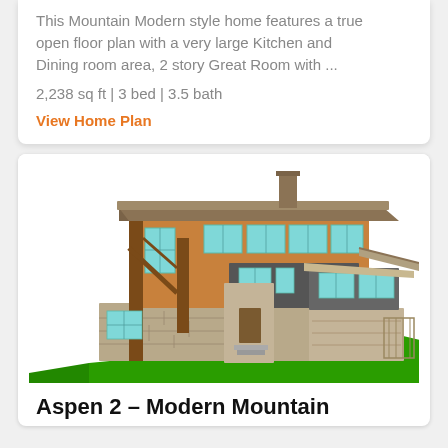This Mountain Modern style home features a true open floor plan with a very large Kitchen and Dining room area, 2 story Great Room with ...
2,238 sq ft | 3 bed | 3.5 bath
View Home Plan
[Figure (illustration): Exterior rendering of a two-story Mountain Modern style home with timber framing, stone base, large windows with teal/aqua tint, covered entry porch, and green sloped lawn.]
Aspen 2 – Modern Mountain